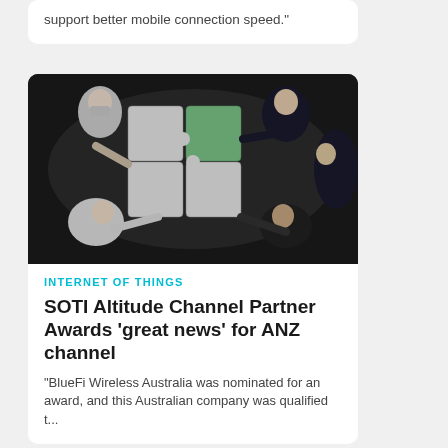support better mobile connection speed."
[Figure (photo): Aerial view of people around a dark table assembling a large white and green jigsaw puzzle, one person wearing a face mask]
INTERNET OF THINGS
SOTI Altitude Channel Partner Awards 'great news' for ANZ channel
"BlueFi Wireless Australia was nominated for an award, and this Australian company was qualified t...